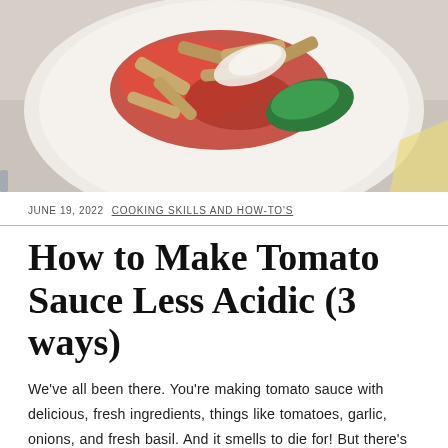[Figure (photo): A bowl of penne pasta with tomato sauce and fresh basil leaves, viewed from above on a white plate.]
JUNE 19, 2022  COOKING SKILLS AND HOW-TO'S
How to Make Tomato Sauce Less Acidic (3 ways)
We've all been there. You're making tomato sauce with delicious, fresh ingredients, things like tomatoes, garlic, onions, and fresh basil. And it smells to die for! But there's one problem- you taste it and realize it still